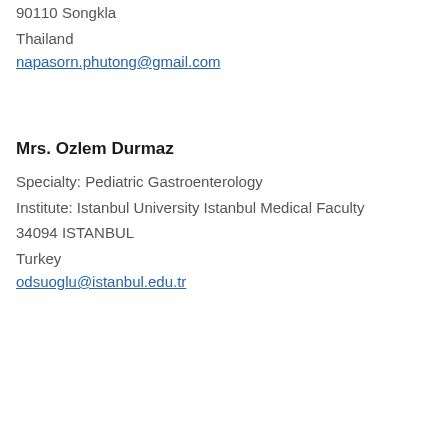90110 Songkla
Thailand
napasorn.phutong@gmail.com
Mrs. Ozlem Durmaz
Specialty: Pediatric Gastroenterology
Institute: Istanbul University Istanbul Medical Faculty
34094 ISTANBUL
Turkey
odsuoglu@istanbul.edu.tr